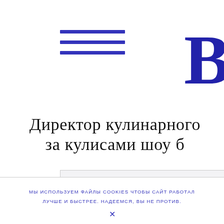[Figure (other): Hamburger menu icon — three horizontal blue bars stacked vertically]
[Figure (logo): Large letter B in dark navy/blue serif font, partially cropped at right edge]
Директор кулинарного за кулисами шоу б
[Figure (other): Placeholder card UI element with a grey circle avatar and two grey rectangular lines representing text]
МЫ ИСПОЛЬЗУЕМ ФАЙЛЫ COOKIES ЧТОБЫ САЙТ РАБОТАЛ ЛУЧШЕ И БЫСТРЕЕ. НАДЕЕМСЯ, ВЫ НЕ ПРОТИВ.